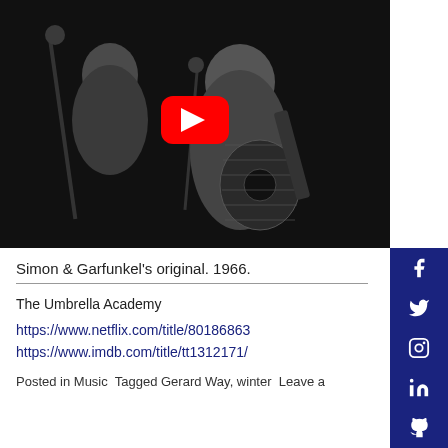[Figure (screenshot): YouTube video thumbnail showing Simon & Garfunkel performing in black and white, with a red YouTube play button overlay in the center.]
Simon & Garfunkel’s original. 1966.
The Umbrella Academy
https://www.netflix.com/title/80186863
https://www.imdb.com/title/tt1312171/
Posted in Music  Tagged Gerard Way, winter  Leave a